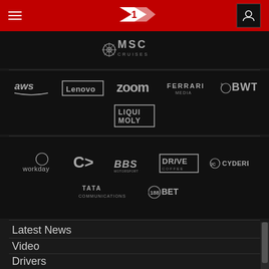[Figure (screenshot): F1 website header with red navigation bar, hamburger menu on left, F1 logo in center, user account icon on right]
[Figure (logo): MSC Cruises logo]
[Figure (logo): Sponsor logos row 1: AWS, Lenovo, Zoom, Ferrari, BWT, Liqui Moly]
[Figure (logo): Sponsor logos row 2: Workday, CarTrack, BBS, Drive Coffee, Cyderes, Tata Communications, 188BET]
Latest News
Video
Drivers